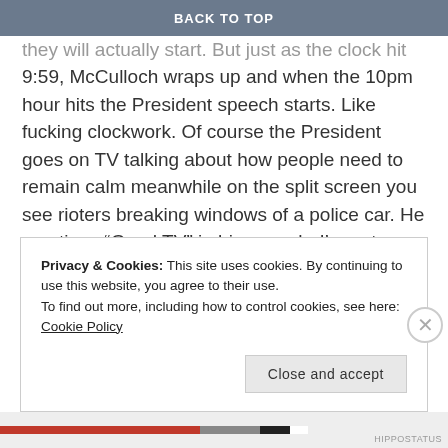BACK TO TOP
presidential speeches, you never know when they will actually start. But just as the clock hit 9:59, McCulloch wraps up and when the 10pm hour hits the President speech starts. Like fucking clockwork. Of course the President goes on TV talking about how people need to remain calm meanwhile on the split screen you see rioters breaking windows of a police car. He mentions “Good TV” in his speech. I’m not entirely convinced that was an accident. I made up my mind right then and there that this was all a coordinated effort to show that people of color are animals.
Privacy & Cookies: This site uses cookies. By continuing to use this website, you agree to their use.
To find out more, including how to control cookies, see here: Cookie Policy
Close and accept